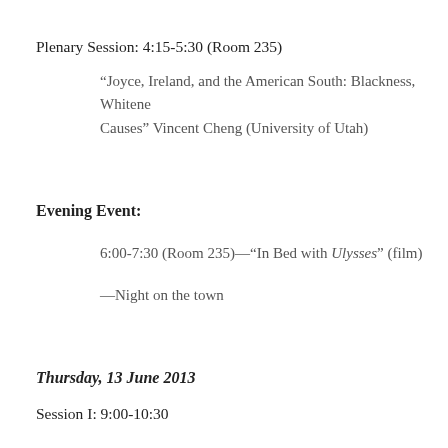Plenary Session: 4:15-5:30 (Room 235)
“Joyce, Ireland, and the American South: Blackness, Whiteness, and Lost Causes” Vincent Cheng (University of Utah)
Evening Event:
6:00-7:30 (Room 235)—“In Bed with Ulysses” (film)
—Night on the town
Thursday, 13 June 2013
Session I: 9:00-10:30